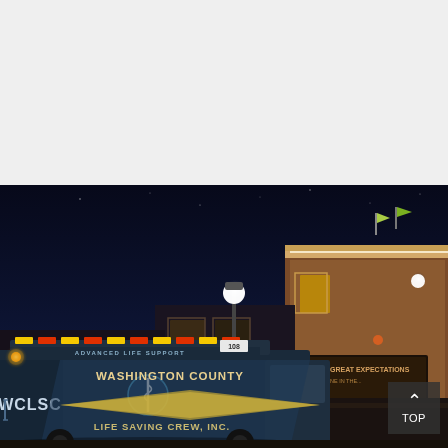[Figure (photo): Night scene showing a Washington County Life Saving Crew Inc. (WCLSC) ambulance parked on a street in front of illuminated historic brick buildings. The ambulance is marked 'ADVANCED LIFE SUPPORT', 'WASHINGTON COUNTY', 'LIFE SAVING CREW, INC.' A bright streetlight glows behind the buildings. A theater or storefront on the right displays 'GREAT EXPECTATIONS' signage. The sky is dark navy blue.]